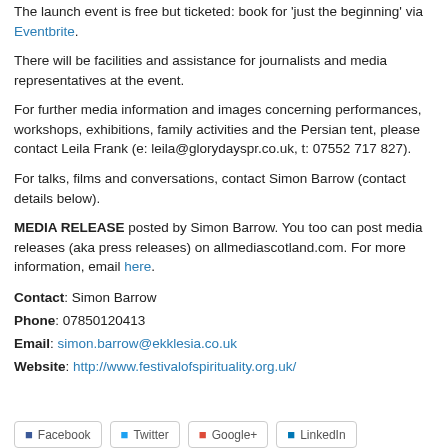The launch event is free but ticketed: book for 'just the beginning' via Eventbrite.
There will be facilities and assistance for journalists and media representatives at the event.
For further media information and images concerning performances, workshops, exhibitions, family activities and the Persian tent, please contact Leila Frank (e: leila@glorydayspr.co.uk, t: 07552 717 827).
For talks, films and conversations, contact Simon Barrow (contact details below).
MEDIA RELEASE posted by Simon Barrow. You too can post media releases (aka press releases) on allmediascotland.com. For more information, email here.
Contact: Simon Barrow
Phone: 07850120413
Email: simon.barrow@ekklesia.co.uk
Website: http://www.festivalofspirituality.org.uk/
[Figure (other): Social media share buttons: Facebook, Twitter, Google+, LinkedIn]